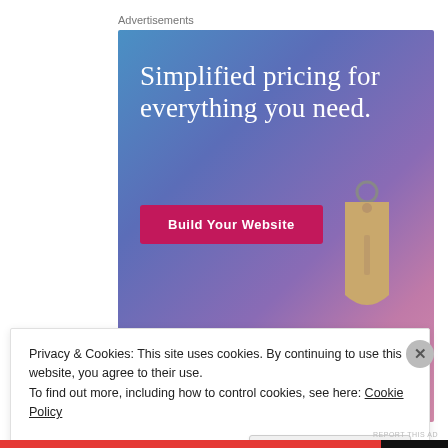Advertisements
[Figure (illustration): WordPress.com advertisement banner with gradient blue-purple-pink background, large white serif text reading 'Simplified pricing for everything you need.', a pink 'Build Your Website' button, a tan price-tag illustration hanging from a metal ring, and the WordPress.com logo at the bottom left.]
REPORT THIS AD
Privacy & Cookies: This site uses cookies. By continuing to use this website, you agree to their use.
To find out more, including how to control cookies, see here: Cookie Policy
Close and accept